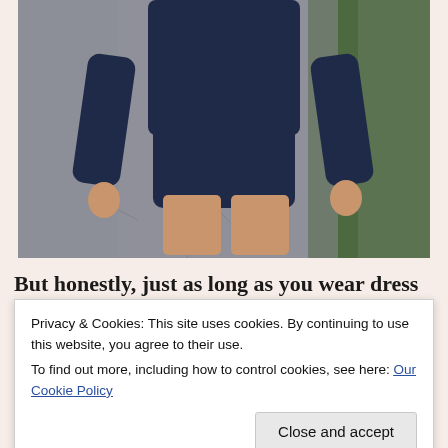[Figure (photo): Person wearing navy blue crop top and navy shorts standing on a cracked pavement path with greenery on the right side. Only the torso, arms, and upper legs are visible.]
But honestly, just as long as you wear dress shorts
Privacy & Cookies: This site uses cookies. By continuing to use this website, you agree to their use.
To find out more, including how to control cookies, see here: Our Cookie Policy
Close and accept
[Figure (photo): Bottom portion of person wearing navy clothing, partial view at bottom of page.]